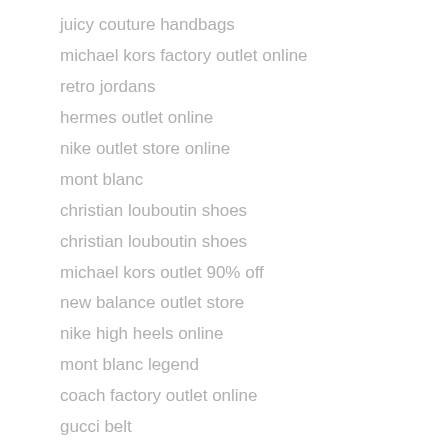juicy couture handbags
michael kors factory outlet online
retro jordans
hermes outlet online
nike outlet store online
mont blanc
christian louboutin shoes
christian louboutin shoes
michael kors outlet 90% off
new balance outlet store
nike high heels online
mont blanc legend
coach factory outlet online
gucci belt
fitflop outlet store
michael kors outlet handbags
hermes bags
ray ban sunglasses outlet
coach factory outlet
cheap canada goose
ugg boots
ugg boots clearance